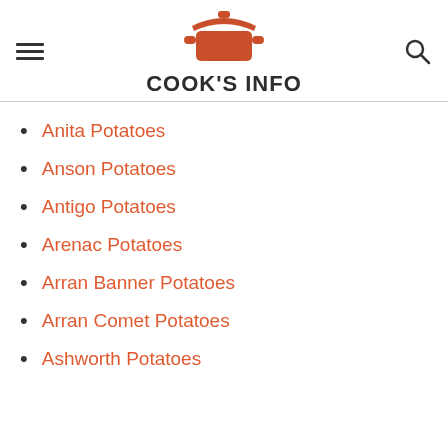COOK'S INFO
Anita Potatoes
Anson Potatoes
Antigo Potatoes
Arenac Potatoes
Arran Banner Potatoes
Arran Comet Potatoes
Ashworth Potatoes